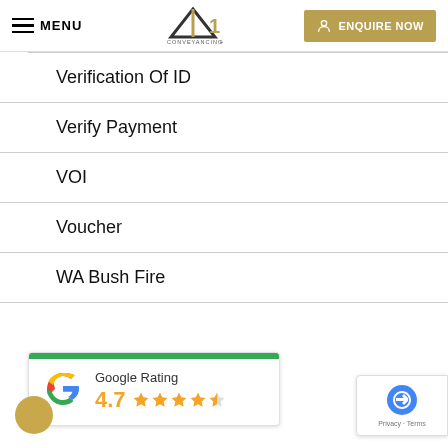[Figure (logo): A1 Conveyancing logo with triangle/A shape]
Verification Of ID
Verify Payment
VOI
Voucher
WA Bush Fire
[Figure (infographic): Google Rating widget showing 4.7 stars with green top bar and Google G logo]
[Figure (logo): reCAPTCHA badge with Privacy and Terms links]